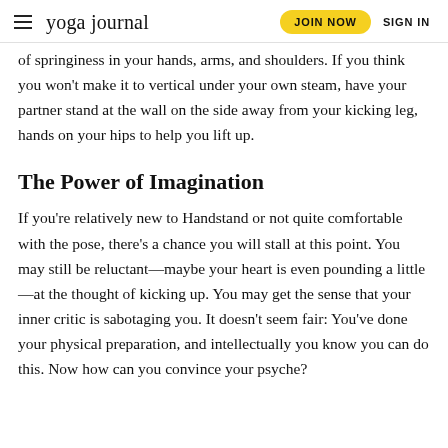yoga journal | JOIN NOW | SIGN IN
of springiness in your hands, arms, and shoulders. If you think you won't make it to vertical under your own steam, have your partner stand at the wall on the side away from your kicking leg, hands on your hips to help you lift up.
The Power of Imagination
If you're relatively new to Handstand or not quite comfortable with the pose, there's a chance you will stall at this point. You may still be reluctant—maybe your heart is even pounding a little—at the thought of kicking up. You may get the sense that your inner critic is sabotaging you. It doesn't seem fair: You've done your physical preparation, and intellectually you know you can do this. Now how can you convince your psyche?